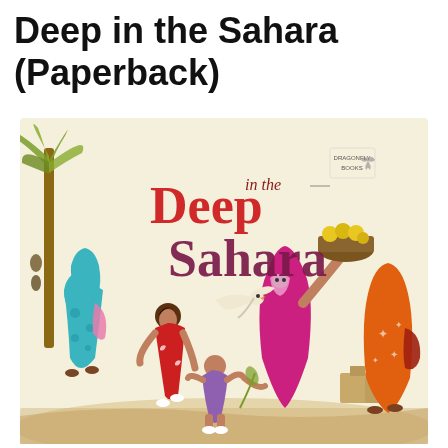Deep in the Sahara (Paperback)
[Figure (illustration): Book cover illustration for 'Deep in the Sahara' showing women and children in colorful robes walking in the Sahara desert, with palm trees and a dove in the background. Title text 'Deep in the Sahara' displayed in decorative red and dark red lettering.]